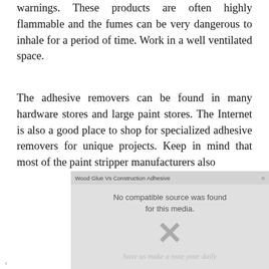warnings. These products are often highly flammable and the fumes can be very dangerous to inhale for a period of time. Work in a well ventilated space.
The adhesive removers can be found in many hardware stores and large paint stores. The Internet is also a good place to shop for specialized adhesive removers for unique projects. Keep in mind that most of the paint stripper manufacturers also